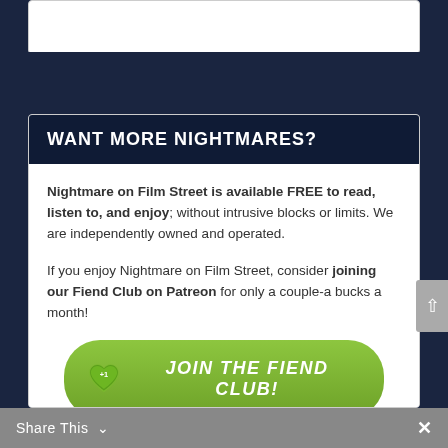WANT MORE NIGHTMARES?
Nightmare on Film Street is available FREE to read, listen to, and enjoy; without intrusive blocks or limits. We are independently owned and operated.
If you enjoy Nightmare on Film Street, consider joining our Fiend Club on Patreon for only a couple-a bucks a month!
[Figure (other): Green rounded button with heart +1 icon and text JOIN THE FIEND CLUB!]
Share This ∨  ×